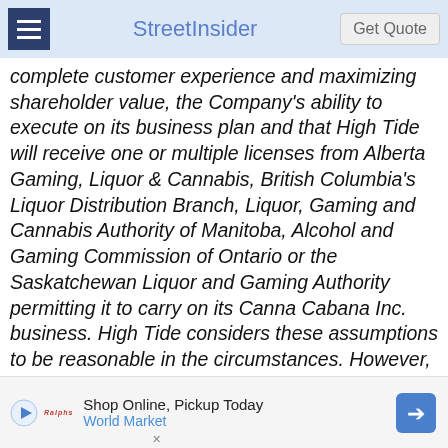StreetInsider
complete customer experience and maximizing shareholder value, the Company's ability to execute on its business plan and that High Tide will receive one or multiple licenses from Alberta Gaming, Liquor & Cannabis, British Columbia's Liquor Distribution Branch, Liquor, Gaming and Cannabis Authority of Manitoba, Alcohol and Gaming Commission of Ontario or the Saskatchewan Liquor and Gaming Authority permitting it to carry on its Canna Cabana Inc. business. High Tide considers these assumptions to be reasonable in the circumstances. However, there can be no assurance that any one or more of the government, industry, market, operational or financial targets as set out herein will be achieved or that the forward-looking statements...